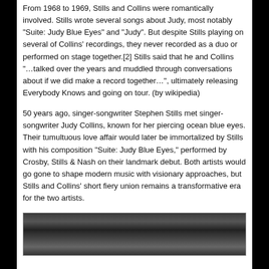From 1968 to 1969, Stills and Collins were romantically involved. Stills wrote several songs about Judy, most notably "Suite: Judy Blue Eyes" and "Judy". But despite Stills playing on several of Collins' recordings, they never recorded as a duo or performed on stage together.[2] Stills said that he and Collins "…talked over the years and muddled through conversations about if we did make a record together…", ultimately releasing Everybody Knows and going on tour. (by wikipedia)
50 years ago, singer-songwriter Stephen Stills met singer-songwriter Judy Collins, known for her piercing ocean blue eyes. Their tumultuous love affair would later be immortalized by Stills with his composition "Suite: Judy Blue Eyes," performed by Crosby, Stills & Nash on their landmark debut. Both artists would go gone to shape modern music with visionary approaches, but Stills and Collins' short fiery union remains a transformative era for the two artists.
[Figure (photo): Black and white photograph showing two people, partially visible at the bottom of the page.]